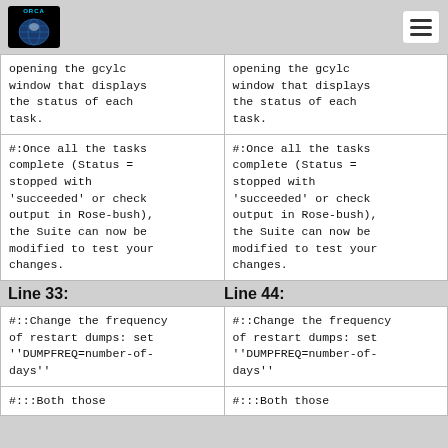ORCA
| Line (left) | Line (right) |
| --- | --- |
| opening the gcylc window that displays the status of each task. | opening the gcylc window that displays the status of each task. |
| #:Once all the tasks complete (Status = stopped with 'succeeded' or check output in Rose-bush), the Suite can now be modified to test your changes. | #:Once all the tasks complete (Status = stopped with 'succeeded' or check output in Rose-bush), the Suite can now be modified to test your changes. |
Line 33:
Line 44:
| Line 33 content | Line 44 content |
| --- | --- |
| #::Change the frequency of restart dumps: set ''DUMPFREQ=number-of-days'' | #::Change the frequency of restart dumps: set ''DUMPFREQ=number-of-days'' |
| #:::Both those | #:::Both those |